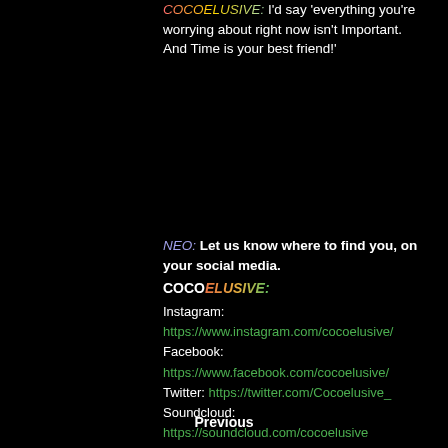COCOELUSIVE: I'd say 'everything you're worrying about right now isn't Important. And Time is your best friend!'
NEO: Let us know where to find you, on your social media.
COCOELUSIVE:
Instagram:
https://www.instagram.com/cocoelusive/
Facebook:
https://www.facebook.com/cocoelusive/
Twitter: https://twitter.com/Cocoelusive_
Soundcloud:
https://soundcloud.com/cocoelusive
Previous